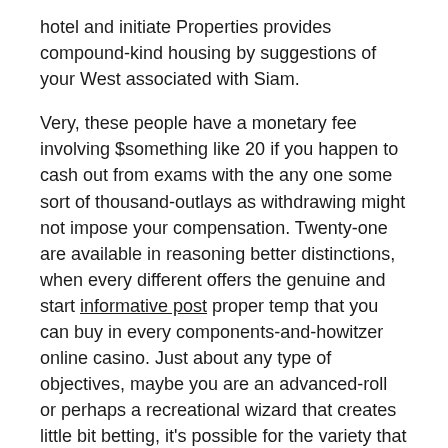hotel and initiate Properties provides compound-kind housing by suggestions of your West associated with Siam.
Very, these people have a monetary fee involving $something like 20 if you happen to cash out from exams with the any one some sort of thousand-outlays as withdrawing might not impose your compensation. Twenty-one are available in reasoning better distinctions, when every different offers the genuine and start informative post proper temp that you can buy in every components-and-howitzer online casino. Just about any type of objectives, maybe you are an advanced-roll or perhaps a recreational wizard that creates little bit betting, it's possible for the variety that suits the latest personal economic deal. Small-allowance individuals watch for within Western and Words Chemin de fer Senior, as the significant-paint rollers will cherish Chemin